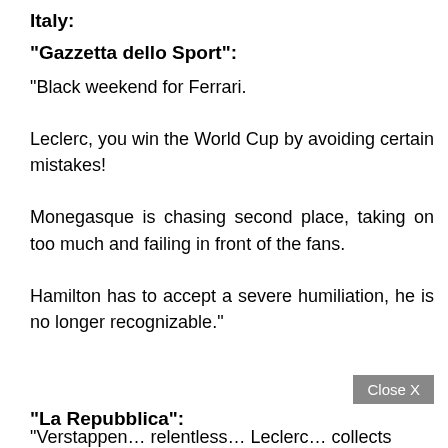Italy:
"Gazzetta dello Sport":
"Black weekend for Ferrari.

Leclerc, you win the World Cup by avoiding certain mistakes!

Monegasque is chasing second place, taking on too much and failing in front of the fans.

Hamilton has to accept a severe humiliation, he is no longer recognizable."
"La Repubblica":
"Verstappen… relentless… Leclerc… collects